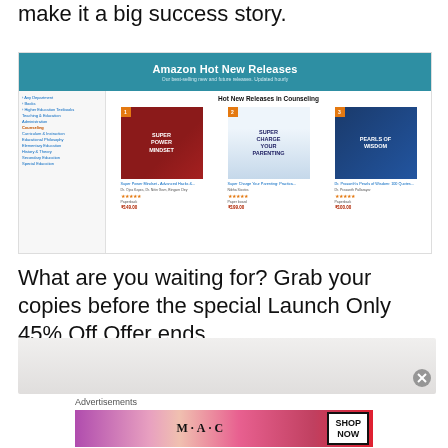make it a big success story.
[Figure (screenshot): Amazon Hot New Releases screenshot showing 'Hot New Releases in Counseling' with three books: Super Power Mindset (#1), Super Charge Your Parenting (#2), and Dr. Prasanth's Pearls of Wisdom (#3)]
What are you waiting for? Grab your copies before the special Launch Only 45% Off Offer ends.
[Figure (screenshot): Partial screenshot showing a product image with a close/dismiss button (X)]
Advertisements
[Figure (photo): MAC cosmetics advertisement banner showing lipsticks with SHOP NOW button]